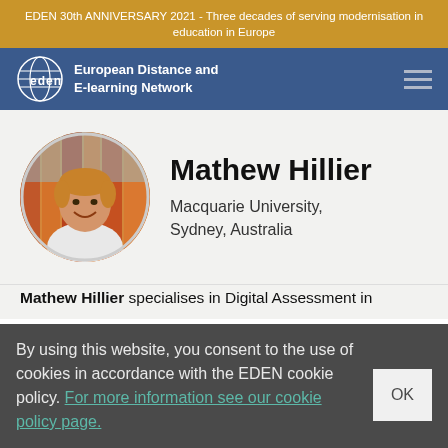EDEN 30th ANNIVERSARY 2021 - Three decades of serving modernisation in education in Europe
[Figure (logo): EDEN European Distance and E-learning Network logo with globe icon on blue navigation bar]
Mathew Hillier
Macquarie University, Sydney, Australia
[Figure (photo): Circular profile photo of Mathew Hillier, a smiling man with short hair, outdoors with colourful background]
Mathew Hillier specialises in Digital Assessment in
By using this website, you consent to the use of cookies in accordance with the EDEN cookie policy. For more information see our cookie policy page.